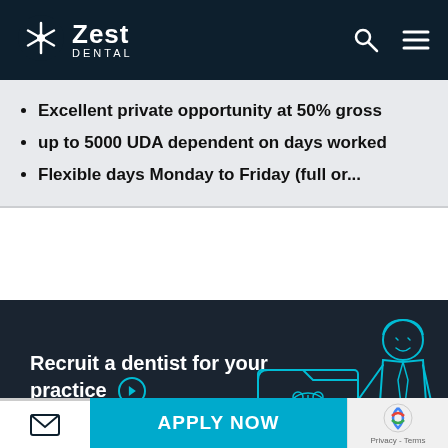[Figure (logo): Zest Dental logo with snowflake icon on dark navy header bar, search and hamburger menu icons on right]
Excellent private opportunity at 50% gross
up to 5000 UDA dependent on days worked
Flexible days Monday to Friday (full or...
[Figure (illustration): Dark banner with white text 'Recruit a dentist for your practice' with arrow icon, and line-art illustration of a man in suit next to a folder with Zest logo and a tooth]
Recruit a dentist for your practice
[Figure (other): Bottom action bar with email icon, APPLY NOW button in blue, and reCAPTCHA widget with Privacy - Terms]